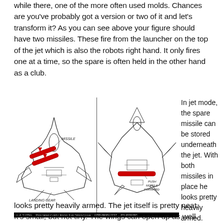while there, one of the more often used molds. Chances are you've probably got a version or two of it and let's transform it? As you can see above your figure should have two missiles. These fire from the launcher on the top of the jet which is also the robots right hand. It only fires one at a time, so the spare is often held in the other hand as a club.
[Figure (illustration): Instruction manual illustration showing a Transformer jet in two positions. Left panel shows jet with missiles labeled 'MISSILE' and 'LANDING GEAR'. Right panel shows jet from a different angle with 'PUSH MISSILE FORWARD' instruction. Both panels have red arrows indicating movement directions. Footer text reads copyright and Takara Co Ltd manufacturing license info.]
In jet mode, the spare missile can be stored underneath the jet. With both missiles in place he looks pretty heavily armed. The jet itself is pretty neat. It's small, but not tiny. The wings can open up as well.